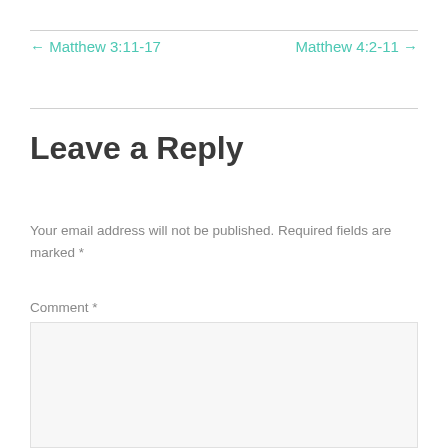← Matthew 3:11-17
Matthew 4:2-11 →
Leave a Reply
Your email address will not be published. Required fields are marked *
Comment *